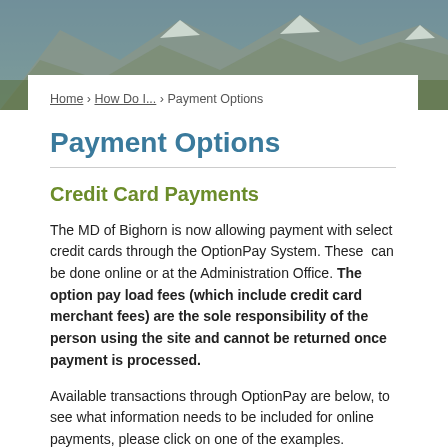[Figure (photo): Mountain landscape background photo with forest and rocky peaks]
Home › How Do I... › Payment Options
Payment Options
Credit Card Payments
The MD of Bighorn is now allowing payment with select credit cards through the OptionPay System. These can be done online or at the Administration Office. The option pay load fees (which include credit card merchant fees) are the sole responsibility of the person using the site and cannot be returned once payment is processed.
Available transactions through OptionPay are below, to see what information needs to be included for online payments, please click on one of the examples.